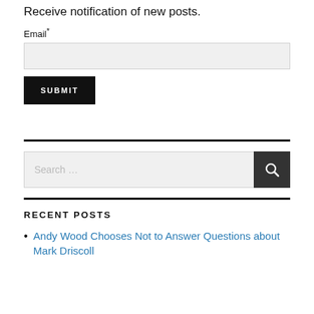Receive notification of new posts.
Email*
SUBMIT
Search …
RECENT POSTS
Andy Wood Chooses Not to Answer Questions about Mark Driscoll